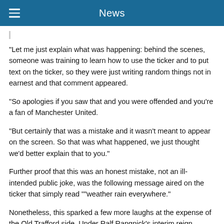News
"Let me just explain what was happening: behind the scenes, someone was training to learn how to use the ticker and to put text on the ticker, so they were just writing random things not in earnest and that comment appeared.
"So apologies if you saw that and you were offended and you're a fan of Manchester United.
"But certainly that was a mistake and it wasn't meant to appear on the screen. So that was what happened, we just thought we'd better explain that to you."
Further proof that this was an honest mistake, not an ill-intended public joke, was the following message aired on the ticker that simply read ""weather rain everywhere."
Nonetheless, this sparked a few more laughs at the expense of the Old Trafford side. Under Ralf Rangnick's interim reign, Manchester United finished sixth, missing out on UEFA Champions League football but ultimately securing a Europa League ticket after coming narrowly close to the worst case scenario: a UEFA Europa